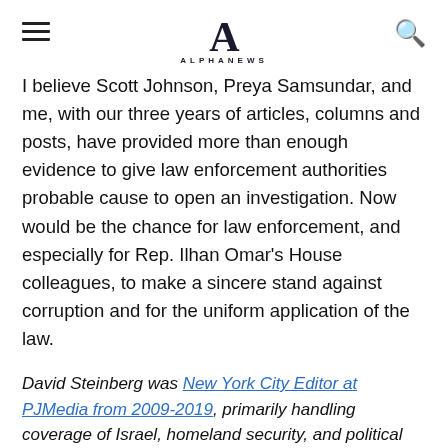ALPHANEWS
I believe Scott Johnson, Preya Samsundar, and me, with our three years of articles, columns and posts, have provided more than enough evidence to give law enforcement authorities probable cause to open an investigation. Now would be the chance for law enforcement, and especially for Rep. Ilhan Omar's House colleagues, to make a sincere stand against corruption and for the uniform application of the law.
David Steinberg was New York City Editor at PJMedia from 2009-2019, primarily handling coverage of Israel, homeland security, and political corruption. His investigation of Eric Cantor's 2014 primary campaign is credited (ask Dave Brat!) with tipping the historic loss, perhaps the beginning of the "Trump Era." As noted above, since 2018 Steinberg has published several articles of exclusive evidence covering Rep. Ilhan Omar's past; they can be accessed